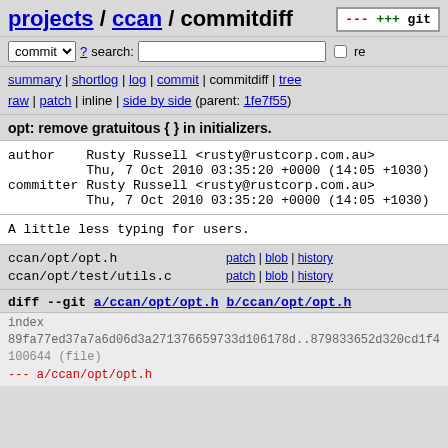projects / ccan / commitdiff
commit ? search: re
summary | shortlog | log | commit | commitdiff | tree
raw | patch | inline | side by side (parent: 1fe7ff55)
opt: remove gratuitous {} in initializers.
author    Rusty Russell <rusty@rustcorp.com.au>
          Thu, 7 Oct 2010 03:35:20 +0000 (14:05 +1030)
committer Rusty Russell <rusty@rustcorp.com.au>
          Thu, 7 Oct 2010 03:35:20 +0000 (14:05 +1030)
A little less typing for users.
ccan/opt/opt.h    patch | blob | history
ccan/opt/test/utils.c    patch | blob | history
diff --git a/ccan/opt/opt.h b/ccan/opt/opt.h
index
89fa77ed37a7a6d06d3a271376659733d106178d..879833652d320cd1f4
100644 (file)
--- a/ccan/opt/opt.h